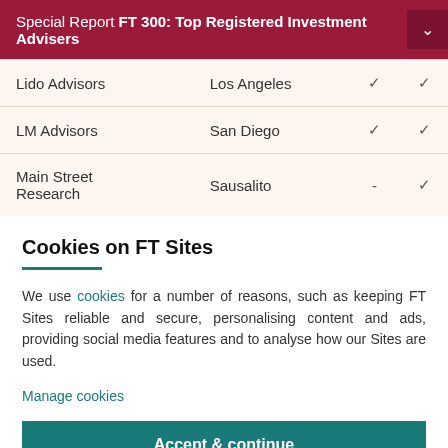Special Report FT 300: Top Registered Investment Advisers
| Name | City | Col3 | Col4 |
| --- | --- | --- | --- |
| Lido Advisors | Los Angeles | ✓ | ✓ |
| LM Advisors | San Diego | ✓ | ✓ |
| Main Street Research | Sausalito | - | ✓ |
Cookies on FT Sites
We use cookies for a number of reasons, such as keeping FT Sites reliable and secure, personalising content and ads, providing social media features and to analyse how our Sites are used.
Manage cookies
Accept & continue